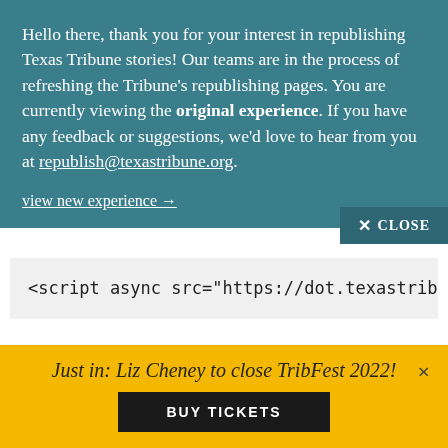Hello there, thank you for your interest in republishing Texas Tribune stories! Our teams are in the process of refreshing the Tribune's republishing pages. You are currently viewing the original experience. If you have any feedback or suggestions, we'd love to hear from you at republish@texastribune.org.
view new experience →
✕ CLOSE
<script async src="https://dot.texastribu
When socializing or republishing Texas Tribune content, please include attribution to the Trib's
Just in: Liz Cheney to close TribFest 2022!
BUY TICKETS